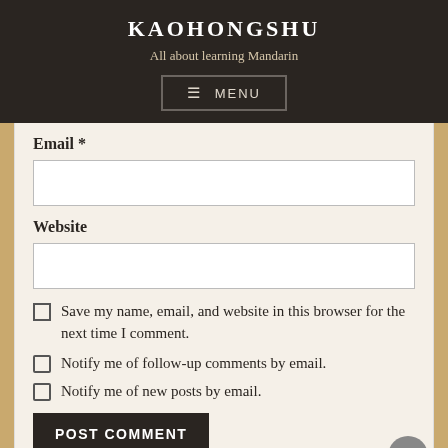KAOHONGSHU
All about learning Mandarin
≡ MENU
Email *
Website
Save my name, email, and website in this browser for the next time I comment.
Notify me of follow-up comments by email.
Notify me of new posts by email.
POST COMMENT